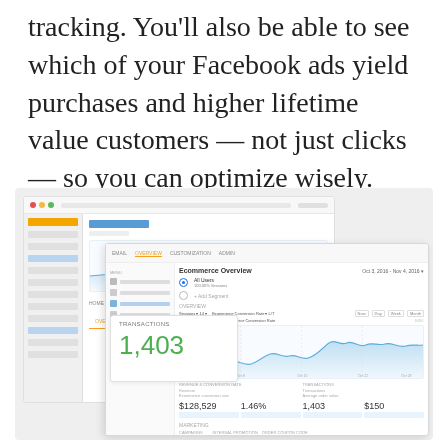tracking. You'll also be able to see which of your Facebook ads yield purchases and higher lifetime value customers — not just clicks — so you can optimize wisely.
[Figure (screenshot): Google Analytics Ecommerce Overview dashboard screenshot showing revenue chart, transactions count of 1,403, conversion rate of 1.46%, revenue of $128,529, and average order value of $150, with marketing campaign data.]